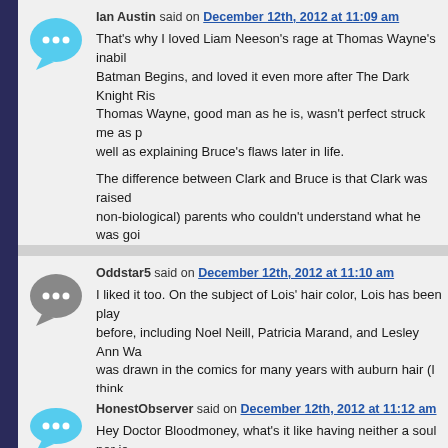Ian Austin said on December 12th, 2012 at 11:09 am
That's why I loved Liam Neeson's rage at Thomas Wayne's inabi... Batman Begins, and loved it even more after The Dark Knight Ris... Thomas Wayne, good man as he is, wasn't perfect struck me as p... well as explaining Bruce's flaws later in life.

The difference between Clark and Bruce is that Clark was raised ... non-biological) parents who couldn't understand what he was goi... Bruce was raised by a loving Butler who understood what he was... too much.
Oddstar5 said on December 12th, 2012 at 11:10 am
I liked it too. On the subject of Lois' hair color, Lois has been play... before, including Noel Neill, Patricia Marand, and Lesley Ann Wa... was drawn in the comics for many years with auburn hair (I think... called, but basically reddish-brown hair), pretty much throughout... the eighties and all of the nineties, and probably into the aughts, a... suppose we'd have to check that. So I don't see a problem with A... color.
HonestObserver said on December 12th, 2012 at 11:12 am
Hey Doctor Bloodmoney, what's it like having neither a soul nor jo... obviously lack both?